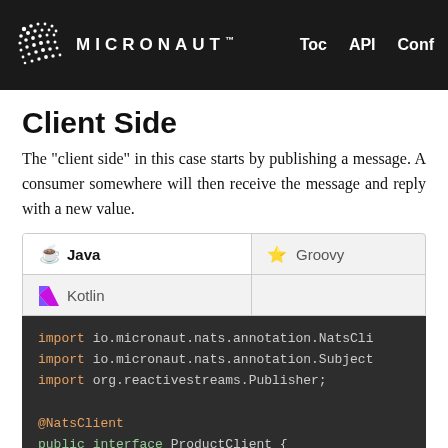MICRONAUT™   Toc   API   Conf
Client Side
The "client side" in this case starts by publishing a message. A consumer somewhere will then receive the message and reply with a new value.
[Figure (screenshot): Tab bar with Java (active/selected), Groovy, and Kotlin language tabs]
import io.micronaut.nats.annotation.NatsCli
import io.micronaut.nats.annotation.Subject
import org.reactivestreams.Publisher;

@NatsClient
public interface ProductClient {

    @Subject("product")
    String send(String data); // 1